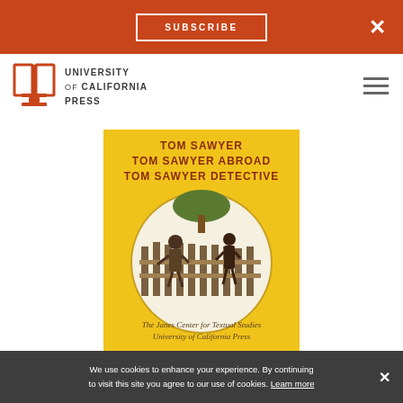SUBSCRIBE
[Figure (logo): University of California Press logo with book icon and text]
[Figure (photo): Book cover of Tom Sawyer, Tom Sawyer Abroad, Tom Sawyer Detective — yellow cover with circular illustration of two figures by a fence, published by The Janes Center for Textual Studies, University of California Press]
We use cookies to enhance your experience. By continuing to visit this site you agree to our use of cookies. Learn more